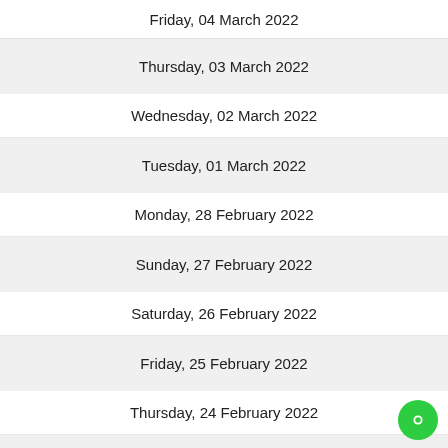Friday, 04 March 2022
Thursday, 03 March 2022
Wednesday, 02 March 2022
Tuesday, 01 March 2022
Monday, 28 February 2022
Sunday, 27 February 2022
Saturday, 26 February 2022
Friday, 25 February 2022
Thursday, 24 February 2022
Wednesday, 23 February 2022